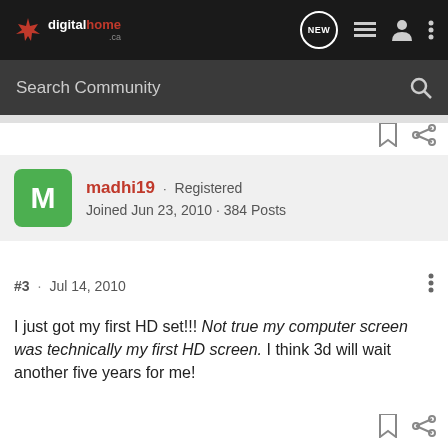digitalhome.ca
Search Community
madhi19 · Registered
Joined Jun 23, 2010 · 384 Posts
#3 · Jul 14, 2010
I just got my first HD set!!! Not true my computer screen was technically my first HD screen. I think 3d will wait another five years for me!